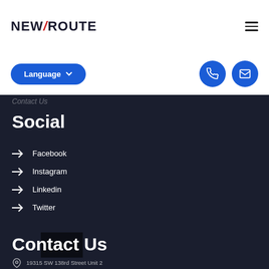[Figure (logo): New Route logo with red slash between NEW and ROUTE text]
[Figure (illustration): Hamburger menu icon (three horizontal lines)]
[Figure (illustration): Language selector button with dropdown chevron]
[Figure (illustration): Blue circular phone icon button]
[Figure (illustration): Blue circular email/envelope icon button]
Contact Us
Social
Facebook
Instagram
Linkedin
Twitter
Contact Us
19315 SW 138rd Street Unit 2